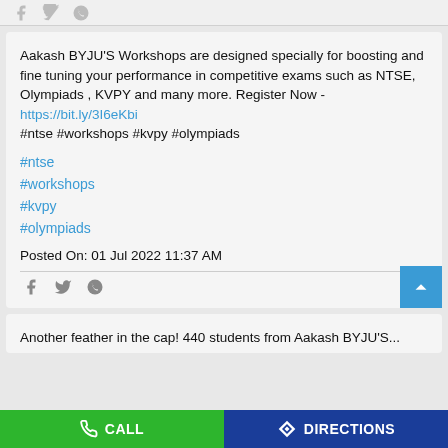Aakash BYJU'S Workshops are designed specially for boosting and fine tuning your performance in competitive exams such as NTSE, Olympiads , KVPY and many more. Register Now - https://bit.ly/3I6eKbi #ntse #workshops #kvpy #olympiads
#ntse
#workshops
#kvpy
#olympiads
Posted On: 01 Jul 2022 11:37 AM
Another feather in the cap! 440 students from Aakash BYJU'S...